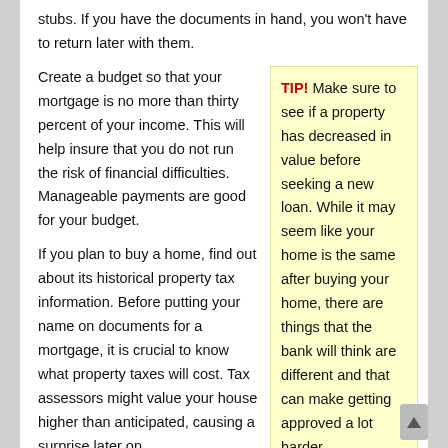stubs. If you have the documents in hand, you won't have to return later with them.
Create a budget so that your mortgage is no more than thirty percent of your income. This will help insure that you do not run the risk of financial difficulties. Manageable payments are good for your budget.
TIP! Make sure to see if a property has decreased in value before seeking a new loan. While it may seem like your home is the same after buying your home, there are things that the bank will think are different and that can make getting approved a lot harder.
If you plan to buy a home, find out about its historical property tax information. Before putting your name on documents for a mortgage, it is crucial to know what property taxes will cost. Tax assessors might value your house higher than anticipated, causing a surprise later on.